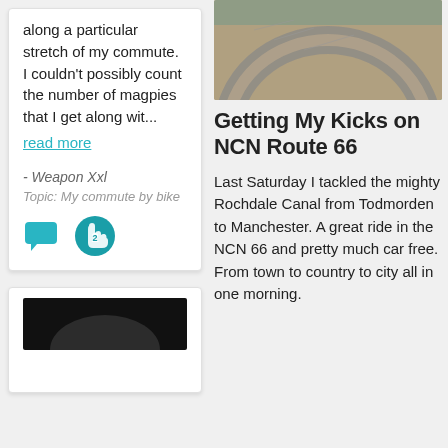along a particular stretch of my commute. I couldn't possibly count the number of magpies that I get along wit...
read more
- Weapon Xxl
Topic: My commute by bike
[Figure (photo): Photo of stone/paved curved path or canal edge, viewed from above]
Getting My Kicks on NCN Route 66
Last Saturday I tackled the mighty Rochdale Canal from Todmorden to Manchester. A great ride in the NCN 66 and pretty much car free. From town to country to city all in one morning.
[Figure (photo): Dark image, partial view at bottom of left card]